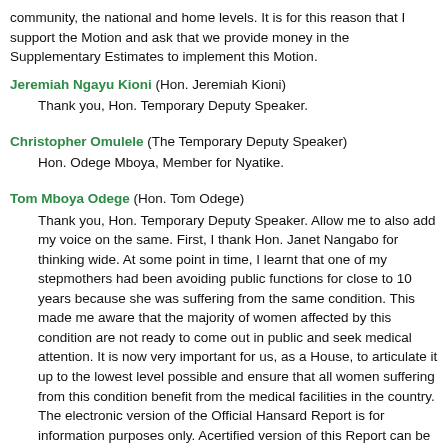community, the national and home levels. It is for this reason that I support the Motion and ask that we provide money in the Supplementary Estimates to implement this Motion.
Jeremiah Ngayu Kioni (Hon. Jeremiah Kioni)
    Thank you, Hon. Temporary Deputy Speaker.
Christopher Omulele (The Temporary Deputy Speaker)
    Hon. Odege Mboya, Member for Nyatike.
Tom Mboya Odege (Hon. Tom Odege)
    Thank you, Hon. Temporary Deputy Speaker. Allow me to also add my voice on the same. First, I thank Hon. Janet Nangabo for thinking wide. At some point in time, I learnt that one of my stepmothers had been avoiding public functions for close to 10 years because she was suffering from the same condition. This made me aware that the majority of women affected by this condition are not ready to come out in public and seek medical attention. It is now very important for us, as a House, to articulate it up to the lowest level possible and ensure that all women suffering from this condition benefit from the medical facilities in the country. The electronic version of the Official Hansard Report is for information purposes only. Acertified version of this Report can be obtained from the Hansard Editor.